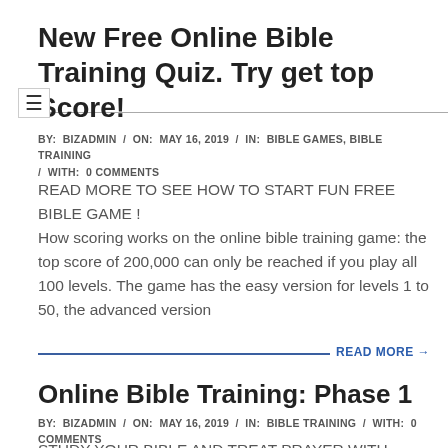New Free Online Bible Training Quiz. Try get top Score!
BY:  BIZADMIN  /  ON:  MAY 16, 2019  /  IN:  BIBLE GAMES, BIBLE TRAINING  /  WITH:  0 COMMENTS
READ MORE TO SEE HOW TO START FUN FREE BIBLE GAME ! How scoring works on the online bible training game: the top score of 200,000 can only be reached if you play all 100 levels. The game has the easy version for levels 1 to 50, the advanced version
READ MORE →
Online Bible Training: Phase 1
BY:  BIZADMIN  /  ON:  MAY 16, 2019  /  IN:  BIBLE TRAINING  /  WITH:  0 COMMENTS
STUDY YOUR BIBLE AND TREAT PRAYER WITH JESUS LIKE A